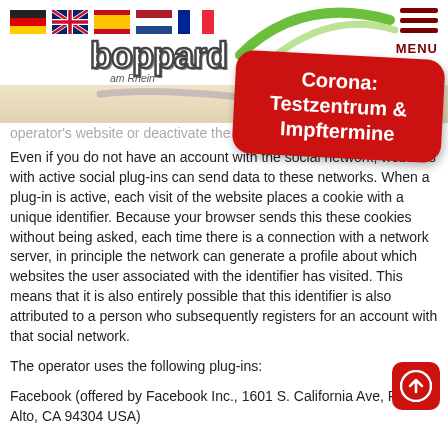[Figure (illustration): Navigation header with country flags (Germany, UK, Spain, Netherlands, France), Boppard am Rhein logo with green swoosh graphic, and hamburger menu icon with MENU label]
[Figure (illustration): Red rounded rectangle badge overlay reading 'Corona: Testzentrum & Impftermine' rotated slightly]
operator's website or deactivate the soci...
Even if you do not have an account with the social network, websites with active social plug-ins can send data to these networks. When a plug-in is active, each visit of the website places a cookie with a unique identifier. Because your browser sends this these cookies without being asked, each time there is a connection with a network server, in principle the network can generate a profile about which websites the user associated with the identifier has visited. This means that it is also entirely possible that this identifier is also attributed to a person who subsequently registers for an account with that social network.
The operator uses the following plug-ins:
Facebook (offered by Facebook Inc., 1601 S. California Ave, Palo Alto, CA 94304 USA)